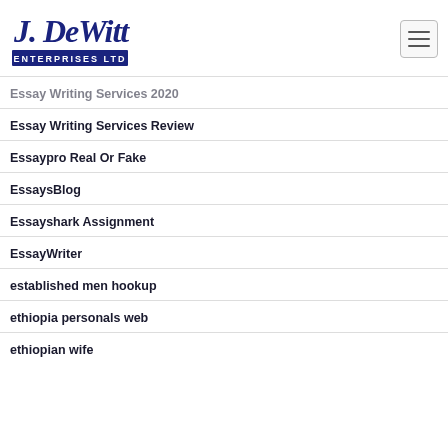[Figure (logo): J. DeWitt Enterprises Ltd logo — cursive navy blue text 'J. DeWitt' above a dark blue rectangular banner with 'ENTERPRISES LTD' in white block letters]
Essay Writing Services 2020
Essay Writing Services Review
Essaypro Real Or Fake
EssaysBlog
Essayshark Assignment
EssayWriter
established men hookup
ethiopia personals web
ethiopian wife